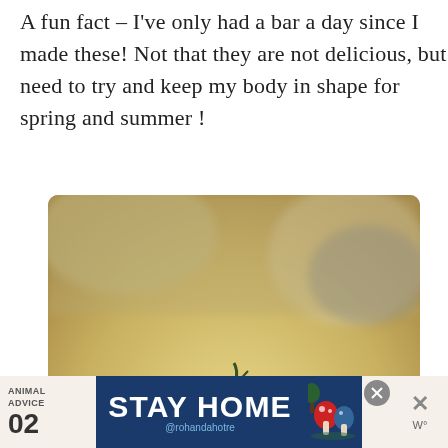A fun fact – I've only had a bar a day since I made these! Not that they are not delicious, but I need to try and keep my body in shape for spring and summer !
[Figure (photo): Close-up photo of a dessert bar topped with a blackberry, with red berry swirl pattern visible on the yellow/cream colored base. A heart button (teal circle), 7.7K count badge, and share button overlay the right side of the image.]
[Figure (infographic): Advertisement banner at bottom: 'ANIMAL ADVICE 02 STAY HOME @rohandahotre' with mushroom/nature illustration, dark blue background, close button and weather widget on the right.]